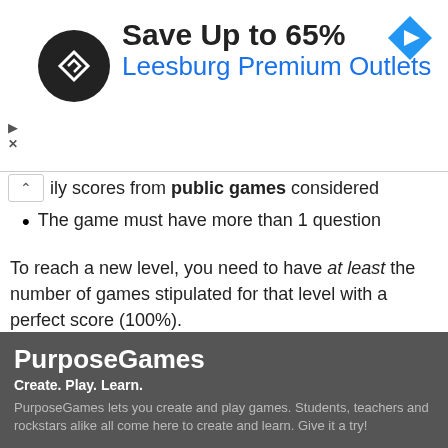[Figure (infographic): Advertisement banner: circular black logo with diamond/arrow symbol, text 'Save Up to 65%' and 'Leesburg Premium Outlets', blue navigation arrow icon on right, small ad controls on left]
ly scores from public games considered
The game must have more than 1 question
To reach a new level, you need to have at least the number of games stipulated for that level with a perfect score (100%).
PurposeGames
Create. Play. Learn.
PurposeGames lets you create and play games. Students, teachers and rockstars alike all come here to create and learn. Give it a try!
Terms of Service
Terms
Privacy Policy